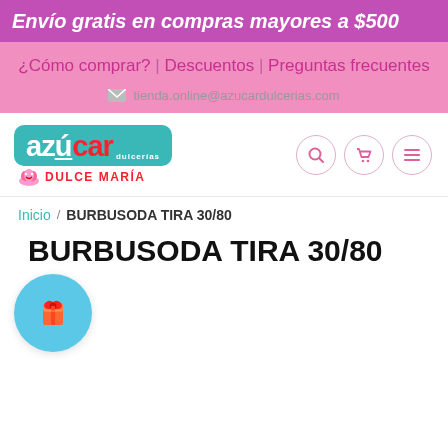Envío gratis en compras mayores a $500
¿Cómo comprar? | Descuentos | Preguntas frecuentes
tienda.online@azucardulcerias.com
[Figure (logo): Azúcar Dulcerías / Dulce María logo with teal badge and red text, plus navigation icons (search, cart, menu)]
Inicio / BURBUSODA TIRA 30/80
BURBUSODA TIRA 30/80
[Figure (illustration): Blue circle with gift box emoji icon]